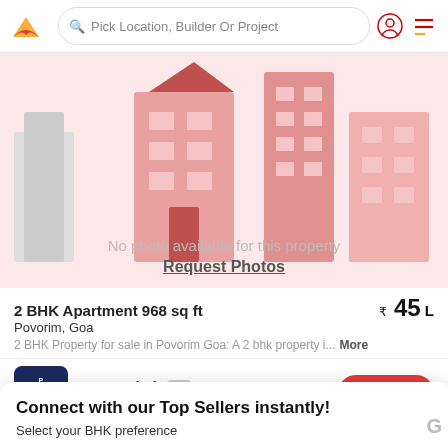Pick Location, Builder Or Project
[Figure (illustration): Real estate app property listing placeholder image showing stylized pink/red building illustrations with text 'No photo available for this property' and 'Request Photos' link below]
2 BHK Apartment 968 sq ft   ₹45 L
Povorim, Goa
2 BHK Property for sale in Povorim Goa: A 2 bhk property i...   More
Propertyhub  AGENT   Connect
Connect with our Top Sellers instantly!
Select your BHK preference